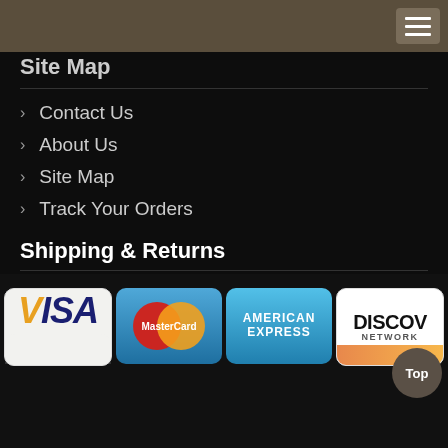Site Map
Contact Us
About Us
Site Map
Track Your Orders
Shipping & Returns
Standard Return Policy
Shipping Policy
Payments Options
[Figure (logo): Payment card logos: Visa, MasterCard, American Express, Discover Network]